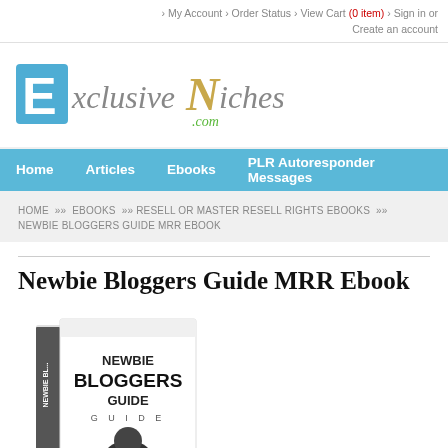My Account › Order Status › View Cart (0 item) › Sign in or Create an account
[Figure (logo): ExclusiveNiches.com logo with blue E block and decorative N]
Home   Articles   Ebooks   PLR Autoresponder Messages
HOME »» EBOOKS »» RESELL OR MASTER RESELL RIGHTS EBOOKS »» NEWBIE BLOGGERS GUIDE MRR EBOOK
Newbie Bloggers Guide MRR Ebook
[Figure (photo): 3D book cover showing 'Newbie Bloggers Guide' with text on front cover and spine]